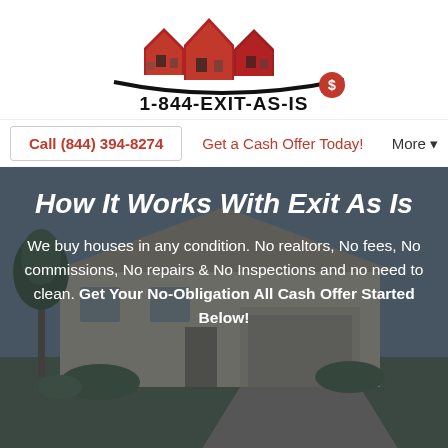[Figure (logo): 1-844-EXIT-AS-IS logo with stylized house rooflines in red and black swoosh]
Call (844) 394-8274   Get a Cash Offer Today!   More
How It Works With Exit As Is
We buy houses in any condition. No realtors, No fees, No commissions, No repairs & No Inspections and no need to clean. Get Your No-Obligation All Cash Offer Started Below!